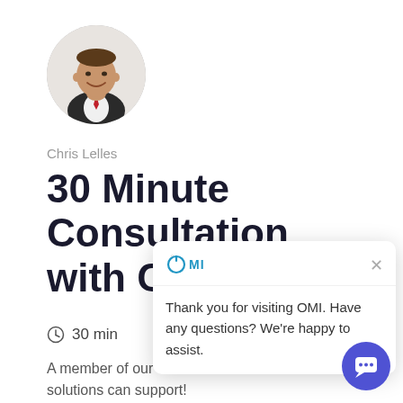[Figure (photo): Circular profile photo of a man in a dark suit with a red tie, smiling, against a light background.]
Chris Lelles
30 Minute Consultation with Chris L
30 min
A member of our team will demonstrate how our solutions can support!
[Figure (screenshot): Chat popup overlay showing OMI logo, a close (X) button, and the message: Thank you for visiting OMI. Have any questions? We're happy to assist.]